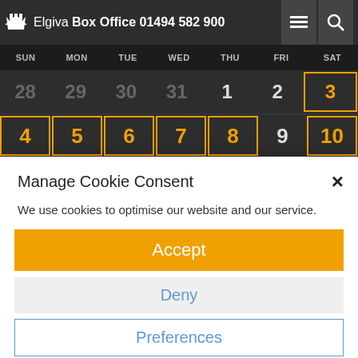Elgiva Box Office 01494 582 900
[Figure (screenshot): Weekly calendar view showing SUN through SAT columns with dates 28-31 (greyed), then 1-10 with 3,4,5,6,7,8,10 highlighted in orange borders]
Manage Cookie Consent
We use cookies to optimise our website and our service.
Accept
Deny
Preferences